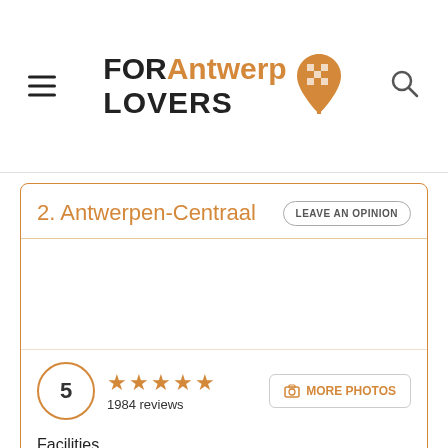FOR Antwerp LOVERS
2. Antwerpen-Centraal
LEAVE AN OPINION
[Figure (photo): Photo area for Antwerpen-Centraal, blank/white placeholder]
5 ★★★★★ 1984 reviews
📷 MORE PHOTOS
Facilities
★★★★★ 5
Prices
★★★★★ 5
Attention